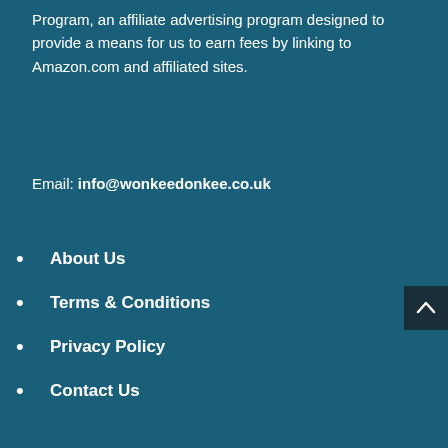Program, an affiliate advertising program designed to provide a means for us to earn fees by linking to Amazon.com and affiliated sites.
Email: info@wonkeedonkee.co.uk
About Us
Terms & Conditions
Privacy Policy
Contact Us